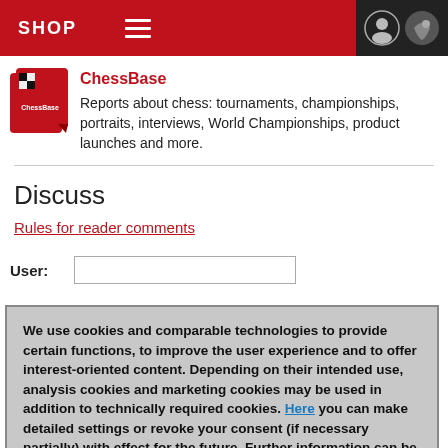SHOP
[Figure (logo): ChessBase logo: red book with chess pieces]
ChessBase
Reports about chess: tournaments, championships, portraits, interviews, World Championships, product launches and more.
Discuss
Rules for reader comments
User:
We use cookies and comparable technologies to provide certain functions, to improve the user experience and to offer interest-oriented content. Depending on their intended use, analysis cookies and marketing cookies may be used in addition to technically required cookies. Here you can make detailed settings or revoke your consent (if necessary partially) with effect for the future. Further information can be found in our data protection declaration.